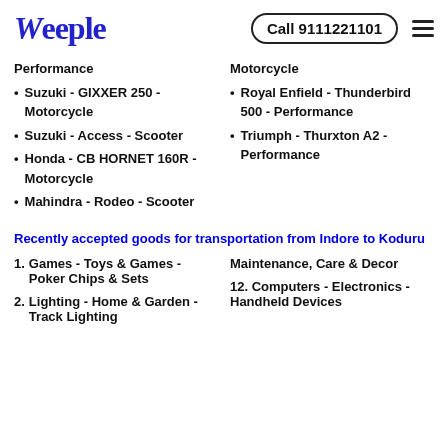Weeple  Call 9111221101
Performance
Suzuki - GIXXER 250 - Motorcycle
Suzuki - Access - Scooter
Honda - CB HORNET 160R - Motorcycle
Mahindra - Rodeo - Scooter
Motorcycle
Royal Enfield - Thunderbird 500 - Performance
Triumph - Thurxton A2 - Performance
Recently accepted goods for transportation from Indore to Koduru
1. Games - Toys & Games - Poker Chips & Sets
Maintenance, Care & Decor
2. Lighting - Home & Garden - Track Lighting
12. Computers - Electronics - Handheld Devices